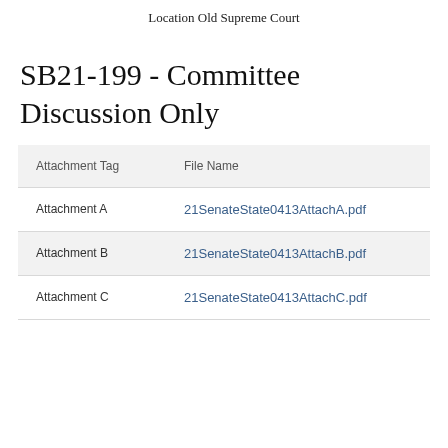Location Old Supreme Court
SB21-199 - Committee Discussion Only
| Attachment Tag | File Name |
| --- | --- |
| Attachment A | 21SenateState0413AttachA.pdf |
| Attachment B | 21SenateState0413AttachB.pdf |
| Attachment C | 21SenateState0413AttachC.pdf |